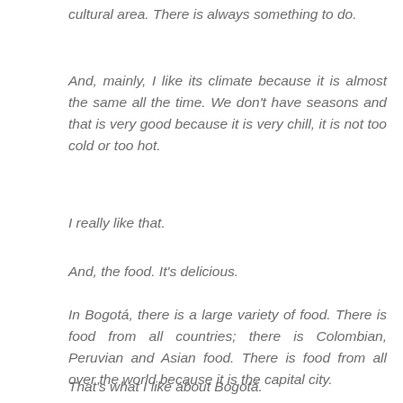cultural area. There is always something to do.
And, mainly, I like its climate because it is almost the same all the time. We don’t have seasons and that is very good because it is very chill, it is not too cold or too hot.
I really like that.
And, the food. It’s delicious.
In Bogotá, there is a large variety of food. There is food from all countries; there is Colombian, Peruvian and Asian food. There is food from all over the world because it is the capital city.
That’s what I like about Bogotá.